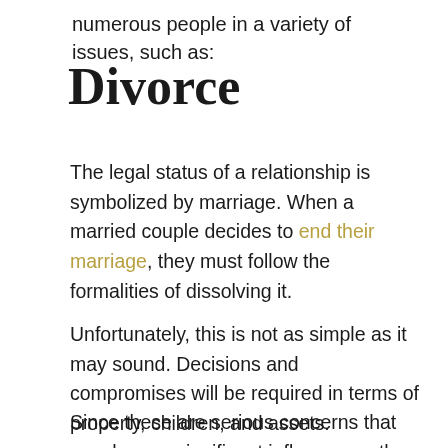numerous people in a variety of issues, such as:
Divorce
The legal status of a relationship is symbolized by marriage. When a married couple decides to end their marriage, they must follow the formalities of dissolving it.
Unfortunately, this is not as simple as it may sound. Decisions and compromises will be required in terms of property, children, and assets.
Since these are serious concerns that may have a significant influence on the rest of your life and your children's, many people seek assistance from a family law firm that is well-versed in Maine's laws